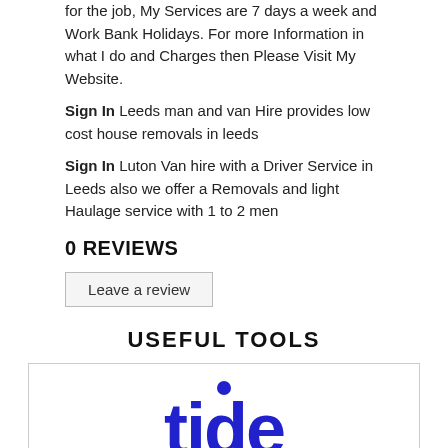for the job, My Services are 7 days a week and Work Bank Holidays. For more Information in what I do and Charges then Please Visit My Website.
Sign In Leeds man and van Hire provides low cost house removals in leeds
Sign In Luton Van hire with a Driver Service in Leeds also we offer a Removals and light Haulage service with 1 to 2 men
0 REVIEWS
Leave a review
USEFUL TOOLS
[Figure (logo): Tide logo in dark blue bold text]